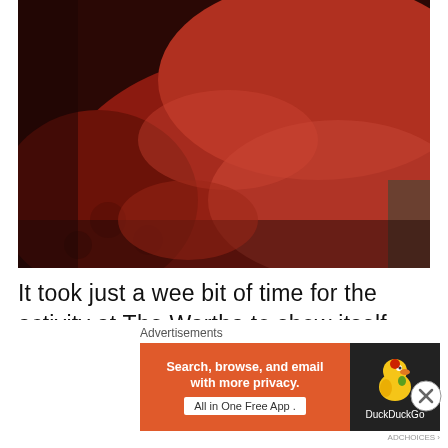[Figure (photo): Close-up photograph of a red/dark-red tufted velvet sofa or chair, dimly lit with reddish tones. The cushions and armrest are visible with a tufted pattern.]
It took just a wee bit of time for the activity at The Wartha to show itself to me. I am a medium so I knew that there would be a ...
Advertisements
[Figure (screenshot): DuckDuckGo advertisement banner: orange background with text 'Search, browse, and email with more privacy. All in One Free App' and DuckDuckGo duck logo on dark right panel.]